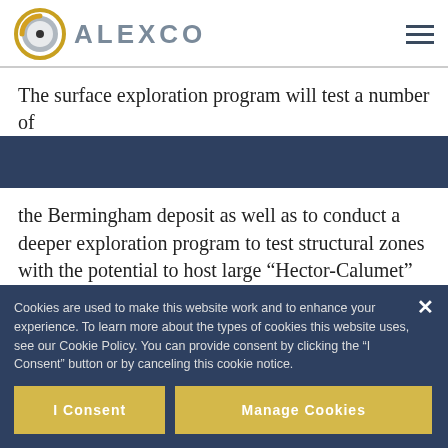ALEXCO
The surface exploration program will test a number of the Bermingham deposit as well as to conduct a deeper exploration program to test structural zones with the potential to host large “Hector-Calumet” style silver deposits. The surface exploration program will extend
Cookies are used to make this website work and to enhance your experience. To learn more about the types of cookies this website uses, see our Cookie Policy. You can provide consent by clicking the “I Consent” button or by canceling this cookie notice.